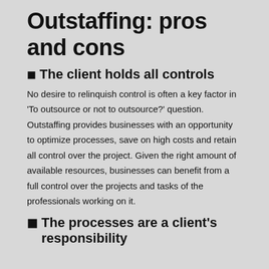Outstaffing: pros and cons
✦ The client holds all controls
No desire to relinquish control is often a key factor in 'To outsource or not to outsource?' question. Outstaffing provides businesses with an opportunity to optimize processes, save on high costs and retain all control over the project. Given the right amount of available resources, businesses can benefit from a full control over the projects and tasks of the professionals working on it.
✦ The processes are a client's responsibility